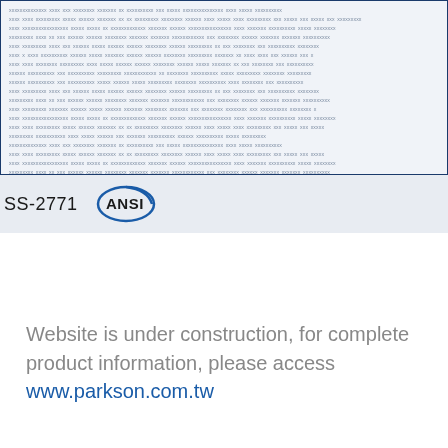[Figure (screenshot): Blurred/faded text content area with light blue-grey background inside a dark blue border, representing a document or webpage content block that is obscured.]
SS-2771  [ANSI logo]
Website is under construction, for complete product information, please access www.parkson.com.tw